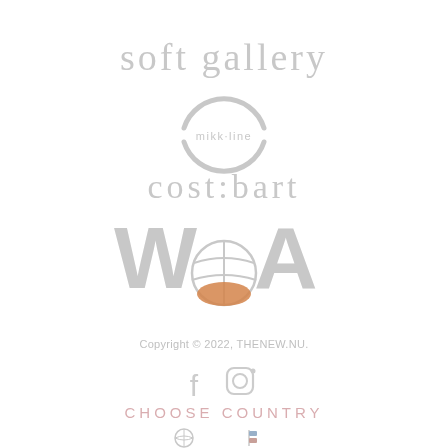[Figure (logo): Soft Gallery brand logo text in light gray]
[Figure (logo): Mikk-line brand logo with circular arc design in light gray]
[Figure (logo): cost:bart brand logo text in light gray]
[Figure (logo): WAWA brand logo with globe/basketball icon, letters in light gray and tan/orange accent]
Copyright © 2022, THENEW.NU.
[Figure (illustration): Facebook and Instagram social media icons in light gray]
CHOOSE COUNTRY
[Figure (illustration): Two small flag/country selector icons at bottom]